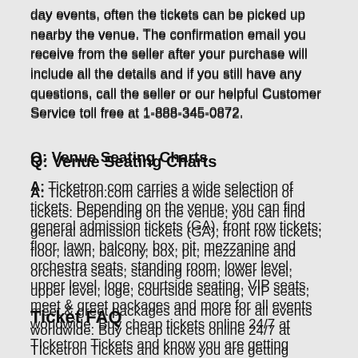day events, often the tickets can be picked up nearby the venue. The confirmation email you receive from the seller after your purchase will include all the details and if you still have any questions, call the seller or our helpful Customer Service toll free at 1-888-345-0872.
Q: Venue Seating Charts
A: Ticketron.com carries a wide selection of tickets. Depending on the venue, you can find general admission tickets (GA), front row tickets; floor, lawn, balcony, box, pit, mezzanine and orchestra seats, standing room, lower level, upper level, loge, courtside seating, VIP seats, meet & greet packages and more for all events worldwide. Buy cheap tickets online 24/7 at TIcketron Tickets and know you are getting authentic tickets that come with a customer satisfaction guarantee. Find the cheapest tickets online.
Ticket FAQ
Q: Do you sell event tickets?
A: Yes, we do sell tickets. Check out our inventory above and